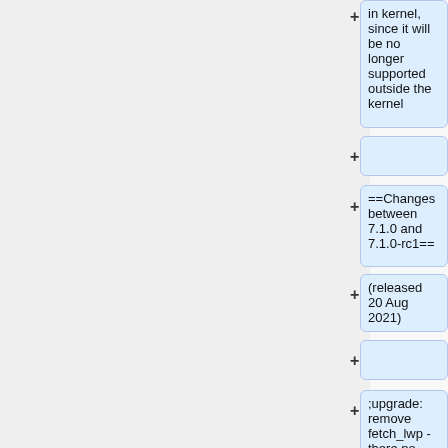+ in kernel, since it will be no longer supported outside the kernel
+
+ ==Changes between 7.1.0 and 7.1.0-rc1==
+ (released 20 Aug 2021)
+
+ ;upgrade: remove fetch_lwp  - there no extra lwp files any more